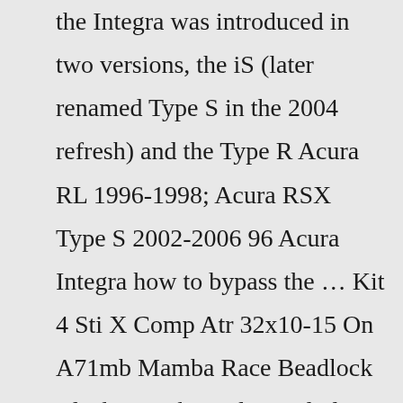the Integra was introduced in two versions, the iS (later renamed Type S in the 2004 refresh) and the Type R Acura RL 1996-1998; Acura RSX Type S 2002-2006 96 Acura Integra how to bypass the … Kit 4 Sti X Comp Atr 32x10-15 On A71mb Mamba Race Beadlock Black Nar 1kxp Also Includes Special Lug Nut Socket 2023 Acura Integra Manual w/A-Spec Tech Package CALL us at (225)435-8060 or TEXT us at (225)369-0335 (93) Container